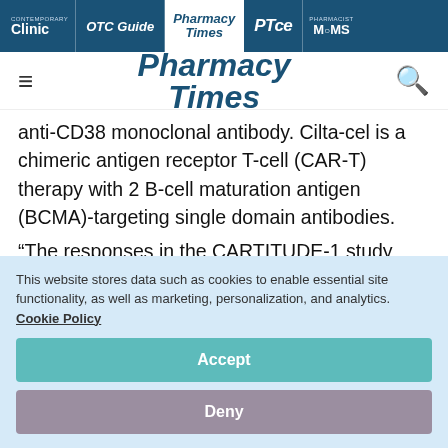Contemporary Clinic | OTC Guide | Pharmacy Times | PTce | Pharmacist MOMS
[Figure (logo): Pharmacy Times logo with hamburger menu and search icon]
anti-CD38 monoclonal antibody. Cilta-cel is a chimeric antigen receptor T-cell (CAR-T) therapy with 2 B-cell maturation antigen (BCMA)-targeting single domain antibodies.
“The responses in the CARTITUDE-1 study
This website stores data such as cookies to enable essential site functionality, as well as marketing, personalization, and analytics. Cookie Policy
Accept
Deny